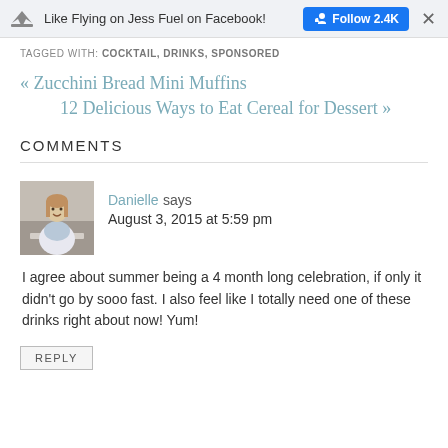Like Flying on Jess Fuel on Facebook! Follow 2.4K ×
TAGGED WITH: COCKTAIL, DRINKS, SPONSORED
« Zucchini Bread Mini Muffins
12 Delicious Ways to Eat Cereal for Dessert »
COMMENTS
Danielle says
August 3, 2015 at 5:59 pm
I agree about summer being a 4 month long celebration, if only it didn't go by sooo fast. I also feel like I totally need one of these drinks right about now! Yum!
REPLY